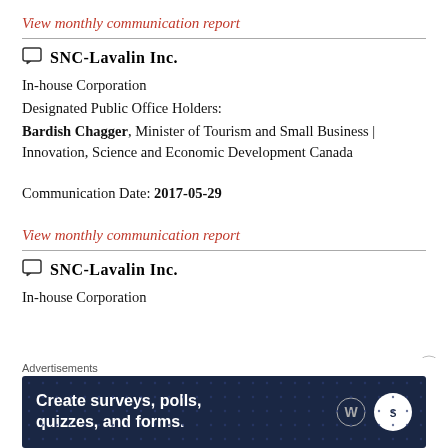View monthly communication report
SNC-Lavalin Inc.
In-house Corporation
Designated Public Office Holders:
Bardish Chagger, Minister of Tourism and Small Business | Innovation, Science and Economic Development Canada
Communication Date: 2017-05-29
View monthly communication report
SNC-Lavalin Inc.
In-house Corporation
[Figure (other): Advertisement banner: Create surveys, polls, quizzes, and forms. Dark navy background with WordPress and SurveyMonkey logos.]